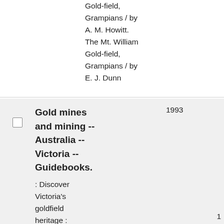Gold-field, Grampians / by A. M. Howitt. The Mt. William Gold-field, Grampians / by E. J. Dunn
Gold mines and mining -- Australia -- Victoria -- Guidebooks. : Discover Victoria's goldfield heritage : Ballarat, Bendigo,